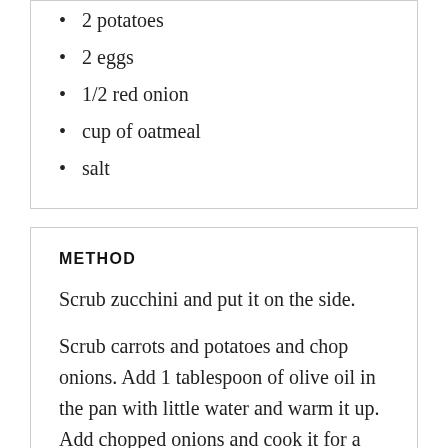2 potatoes
2 eggs
1/2 red onion
cup of oatmeal
salt
METHOD
Scrub zucchini and put it on the side.
Scrub carrots and potatoes and chop onions. Add 1 tablespoon of olive oil in the pan with little water and warm it up. Add chopped onions and cook it for a while, than add